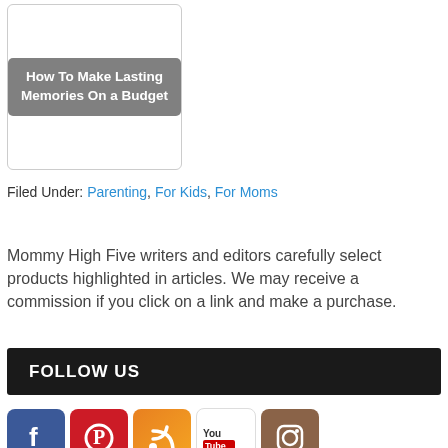[Figure (other): Thumbnail image with dark gray overlay showing text 'How To Make Lasting Memories On a Budget']
Filed Under: Parenting, For Kids, For Moms
Mommy High Five writers and editors carefully select products highlighted in articles. We may receive a commission if you click on a link and make a purchase.
FOLLOW US
[Figure (other): Social media icons: Facebook, Pinterest, RSS, YouTube, Instagram]